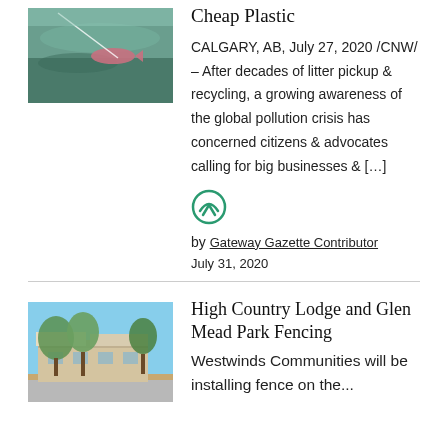[Figure (photo): Aerial or underwater photo showing a fish and a plastic line or litter in water/ocean environment]
Cheap Plastic
CALGARY, AB, July 27, 2020 /CNW/ – After decades of litter pickup & recycling, a growing awareness of the global pollution crisis has concerned citizens & advocates calling for big businesses & […]
[Figure (logo): Gateway Gazette circular logo mark in teal/green]
by Gateway Gazette Contributor
July 31, 2020
[Figure (photo): Exterior photo of High Country Lodge building with trees and blue sky]
High Country Lodge and Glen Mead Park Fencing
Westwinds Communities will be installing fence on the...